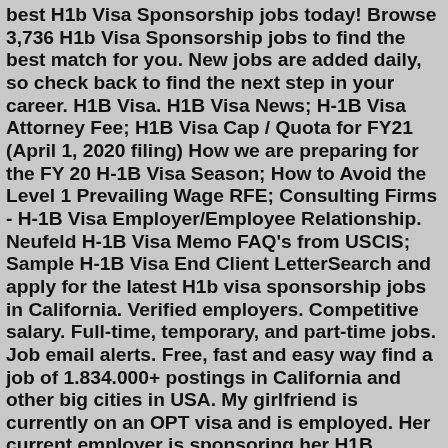best H1b Visa Sponsorship jobs today! Browse 3,736 H1b Visa Sponsorship jobs to find the best match for you. New jobs are added daily, so check back to find the next step in your career. H1B Visa. H1B Visa News; H-1B Visa Attorney Fee; H1B Visa Cap / Quota for FY21 (April 1, 2020 filing) How we are preparing for the FY 20 H-1B Visa Season; How to Avoid the Level 1 Prevailing Wage RFE; Consulting Firms - H-1B Visa Employer/Employee Relationship. Neufeld H-1B Visa Memo FAQ's from USCIS; Sample H-1B Visa End Client LetterSearch and apply for the latest H1b visa sponsorship jobs in California. Verified employers. Competitive salary. Full-time, temporary, and part-time jobs. Job email alerts. Free, fast and easy way find a job of 1.834.000+ postings in California and other big cities in USA. My girlfriend is currently on an OPT visa and is employed. Her current employer is sponsoring her H1B application this year (2016) and she has already submitted all the paperwork to the legal team. However she just received a job offer from a different company across